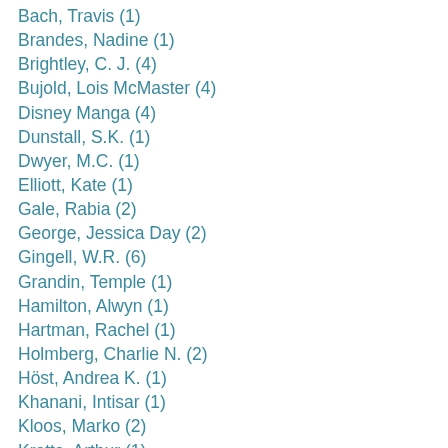Bach, Travis (1)
Brandes, Nadine (1)
Brightley, C. J. (4)
Bujold, Lois McMaster (4)
Disney Manga (4)
Dunstall, S.K. (1)
Dwyer, M.C. (1)
Elliott, Kate (1)
Gale, Rabia (2)
George, Jessica Day (2)
Gingell, W.R. (6)
Grandin, Temple (1)
Hamilton, Alwyn (1)
Hartman, Rachel (1)
Holmberg, Charlie N. (2)
Höst, Andrea K. (1)
Khanani, Intisar (1)
Kloos, Marko (2)
Kratts, Arthur (1)